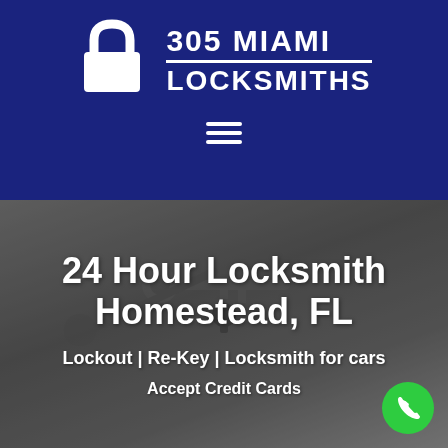[Figure (logo): 305 Miami Locksmiths logo with white padlock icon on dark navy blue background, company name to the right]
[Figure (other): Hamburger menu icon (three horizontal white lines) on dark navy blue background]
[Figure (photo): Dark grey background photo of locksmith keys and lock hardware]
24 Hour Locksmith Homestead, FL
Lockout | Re-Key | Locksmith for cars
Accept Credit Cards
[Figure (other): Green circular phone/call button in bottom right corner]